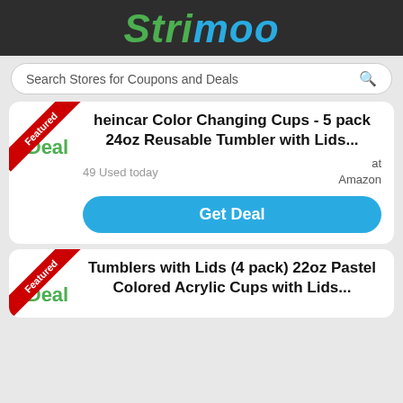Strimoo
Search Stores for Coupons and Deals
heincar Color Changing Cups - 5 pack 24oz Reusable Tumbler with Lids...
49 Used today
at Amazon
Get Deal
Tumblers with Lids (4 pack) 22oz Pastel Colored Acrylic Cups with Lids...